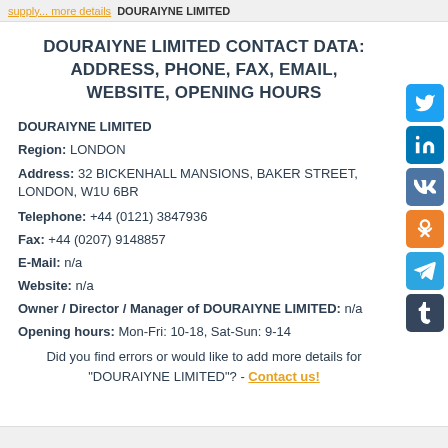supply... DOURAIYNE LIMITED
DOURAIYNE LIMITED CONTACT DATA: ADDRESS, PHONE, FAX, EMAIL, WEBSITE, OPENING HOURS
DOURAIYNE LIMITED
Region: LONDON
Address: 32 BICKENHALL MANSIONS, BAKER STREET, LONDON, W1U 6BR
Telephone: +44 (0121) 3847936
Fax: +44 (0207) 9148857
E-Mail: n/a
Website: n/a
Owner / Director / Manager of DOURAIYNE LIMITED: n/a
Opening hours: Mon-Fri: 10-18, Sat-Sun: 9-14
Did you find errors or would like to add more details for "DOURAIYNE LIMITED"? - Contact us!